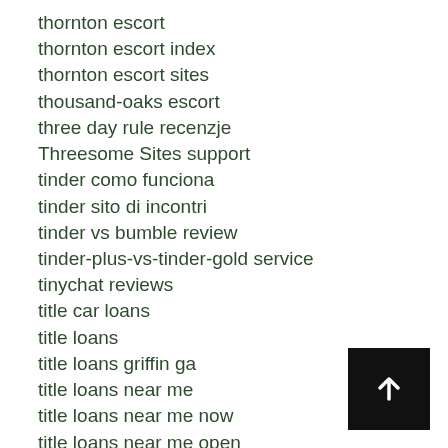thornton escort
thornton escort index
thornton escort sites
thousand-oaks escort
three day rule recenzje
Threesome Sites support
tinder como funciona
tinder sito di incontri
tinder vs bumble review
tinder-plus-vs-tinder-gold service
tinychat reviews
title car loans
title loans
title loans griffin ga
title loans near me
title loans near me now
title loans near me open
title max title loan
titlemax loans pay day loans